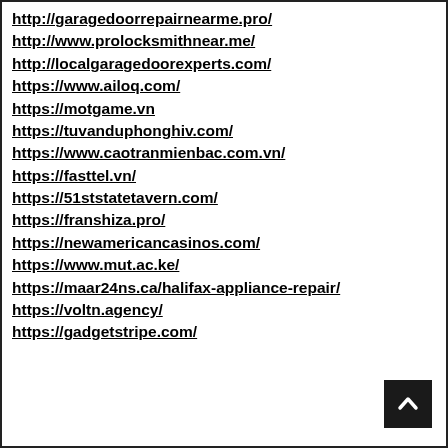http://garagedoorrepairnearme.pro/
http://www.prolocksmithnear.me/
http://localgaragedoorexperts.com/
https://www.ailoq.com/
https://motgame.vn
https://tuvanduphonghiv.com/
https://www.caotranmienbac.com.vn/
https://fasttel.vn/
https://51ststatetavern.com/
https://franshiza.pro/
https://newamericancasinos.com/
https://www.mut.ac.ke/
https://maar24ns.ca/halifax-appliance-repair/
https://voltn.agency/
https://gadgetstripe.com/